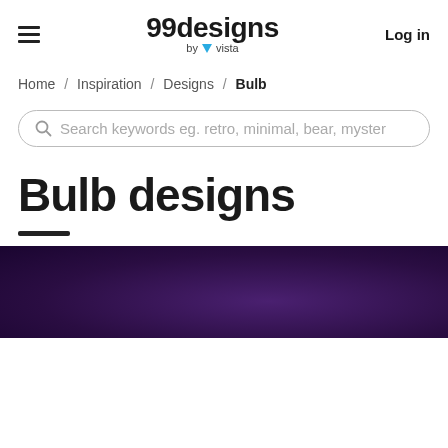99designs by vista — Log in
Home / Inspiration / Designs / Bulb
Search keywords eg. retro, minimal, bear, myster
Bulb designs
[Figure (photo): Purple/dark violet textured background image, partially visible at the bottom of the page]